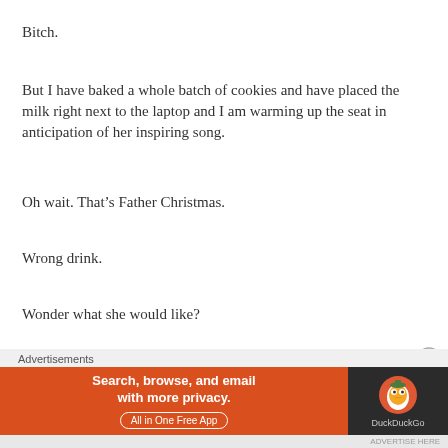Bitch.
But I have baked a whole batch of cookies and have placed the milk right next to the laptop and I am warming up the seat in anticipation of her inspiring song.
Oh wait. That’s Father Christmas.
Wrong drink.
Wonder what she would like?
I think my muse would not be a tea-and-biscotti lady.
Advertisements
[Figure (other): DuckDuckGo advertisement banner: orange section with text 'Search, browse, and email with more privacy. All in One Free App' and dark section with DuckDuckGo duck logo and brand name.]